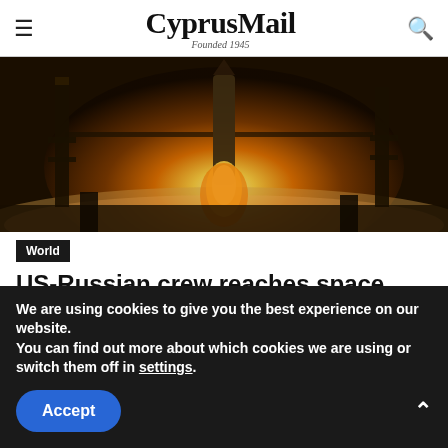CyprusMail — Founded 1945
[Figure (photo): Rocket launch at the Baikonur Cosmodrome with bright flames and launch structure silhouetted against a warm glowing sky]
World
US-Russian crew reaches space station with one empty seat
A scaled-down, two-man US-Russian crew arrived at the International Space Station on Thursday, six hours after blasting off from the Baikonur Cosmodrome in
We are using cookies to give you the best experience on our website.
You can find out more about which cookies we are using or switch them off in settings.